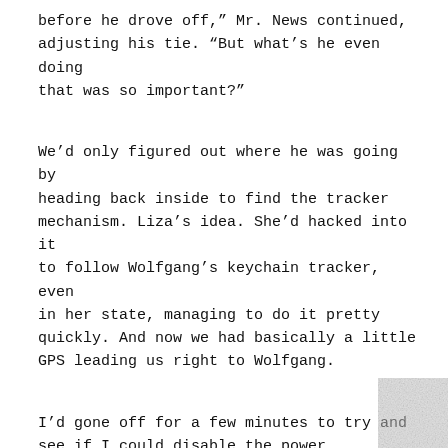before he drove off,” Mr. News continued, adjusting his tie. “But what’s he even doing that was so important?”
We’d only figured out where he was going by heading back inside to find the tracker mechanism. Liza’s idea. She’d hacked into it to follow Wolfgang’s keychain tracker, even in her state, managing to do it pretty quickly. And now we had basically a little GPS leading us right to Wolfgang.
I’d gone off for a few minutes to try and see if I could disable the power switchboard while I was at it. But it was locked and...